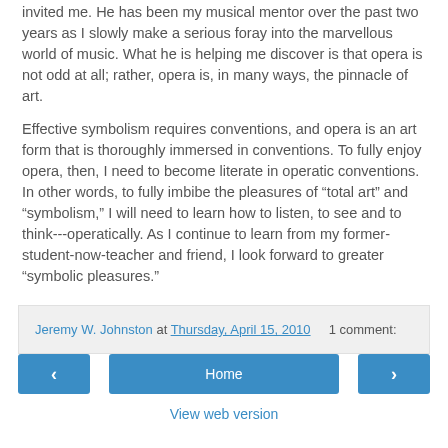invited me. He has been my musical mentor over the past two years as I slowly make a serious foray into the marvellous world of music. What he is helping me discover is that opera is not odd at all; rather, opera is, in many ways, the pinnacle of art.
Effective symbolism requires conventions, and opera is an art form that is thoroughly immersed in conventions. To fully enjoy opera, then, I need to become literate in operatic conventions. In other words, to fully imbibe the pleasures of “total art” and “symbolism,” I will need to learn how to listen, to see and to think---operatically. As I continue to learn from my former-student-now-teacher and friend, I look forward to greater “symbolic pleasures.”
Jeremy W. Johnston at Thursday, April 15, 2010   1 comment:
‹
Home
›
View web version